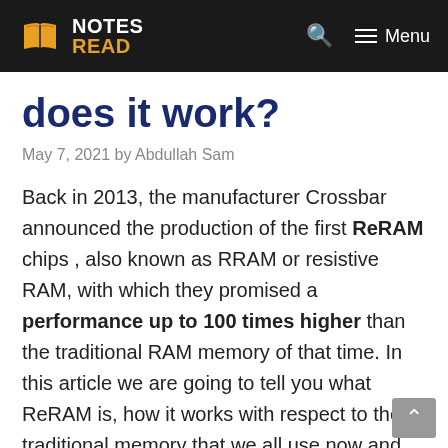NOTES READ — Menu
does it work?
May 7, 2021 by Abdullah Sam
Back in 2013, the manufacturer Crossbar announced the production of the first ReRAM chips , also known as RRAM or resistive RAM, with which they promised a performance up to 100 times higher than the traditional RAM memory of that time. In this article we are going to tell you what ReRAM is, how it works with respect to the traditional memory that we all use now and